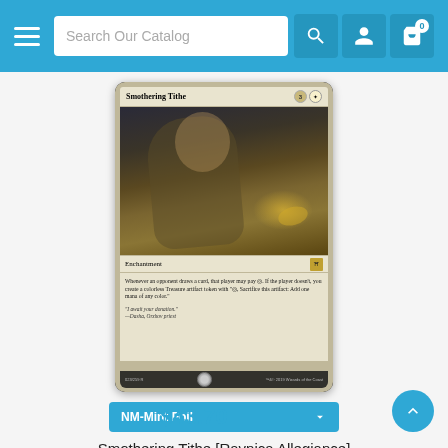Search Our Catalog
[Figure (photo): Magic: The Gathering card - Smothering Tithe [Ravnica Allegiance], NM-Mint Foil, Enchantment card showing a figure grasping coins]
NM-Mint Foil
Smothering Tithe [Ravnica Allegiance]
$43.70